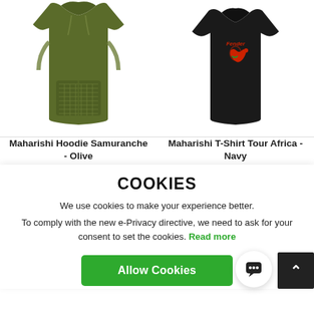[Figure (photo): Olive green Maharishi hoodie with patterned pocket and sleeve design]
Maharishi Hoodie Samuranche - Olive
£139.50  £279.00
[Figure (photo): Black Maharishi T-shirt with Tour Africa graphic embroidery on chest]
Maharishi T-Shirt Tour Africa - Navy
£44.98  £89.95
COOKIES
We use cookies to make your experience better.
To comply with the new e-Privacy directive, we need to ask for your consent to set the cookies. Read more
Allow Cookies